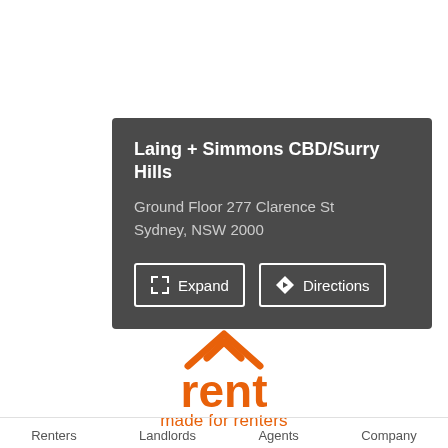[Figure (infographic): Dark grey info card showing 'Laing + Simmons CBD/Surry Hills' with address 'Ground Floor 277 Clarence St Sydney, NSW 2000' and two buttons: Expand and Directions]
[Figure (logo): rent.com.au logo with orange house roof icon above the word 'rent' in orange, and tagline 'made for renters' in orange below]
Renters   Landlords   Agents   Company